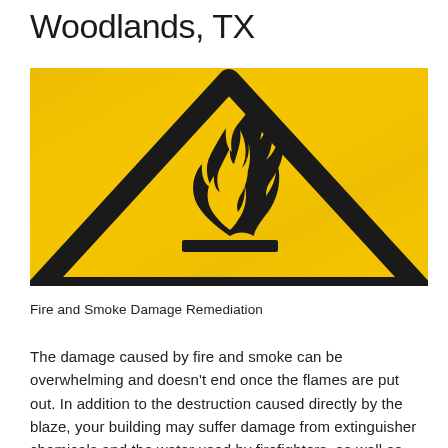Woodlands, TX
[Figure (photo): Yellow warning sign with black triangle and flammable/fire hazard symbol (flame icon) on yellow background]
Fire and Smoke Damage Remediation
The damage caused by fire and smoke can be overwhelming and doesn't end once the flames are put out. In addition to the destruction caused directly by the blaze, your building may suffer damage from extinguisher chemicals and the water used by firefighters, as well as soot and smoke damage that can linger and spread throughout your property.